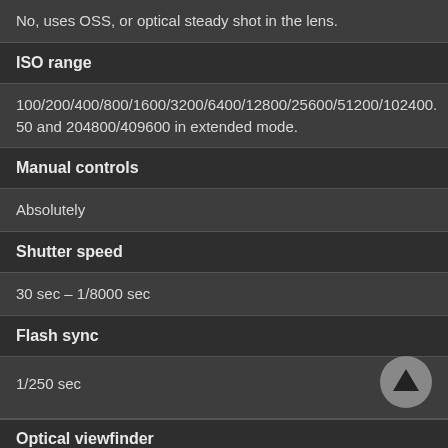No, uses OSS, or optical steady shot in the lens.
ISO range
100/200/400/800/1600/3200/6400/12800/25600/51200/102400.
50 and 204800/409600 in extended mode.
Manual controls
Absolutely
Shutter speed
30 sec – 1/8000 sec
Flash sync
1/250 sec
Optical viewfinder